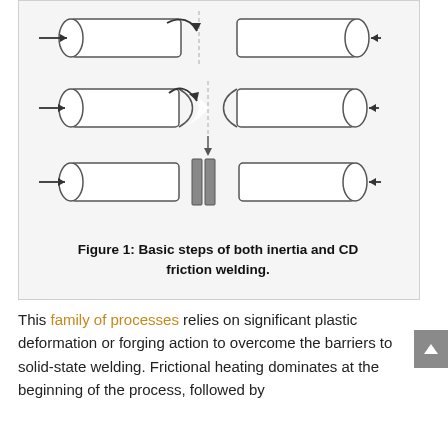[Figure (engineering-diagram): Diagram showing the basic steps of both inertia and CD friction welding. Three stages are shown from top to bottom: (1) Two cylindrical rods held apart with approach arrows, with curved arrow indicating rotation; (2) Rods brought together with flash/deformation forming at the joint, arrows showing compression; (3) Final welded joint with solidified flash/upset at the center, arrows showing final forge pressure.]
Figure 1: Basic steps of both inertia and CD friction welding.
This family of processes relies on significant plastic deformation or forging action to overcome the barriers to solid-state welding. Frictional heating dominates at the beginning of the process, followed by